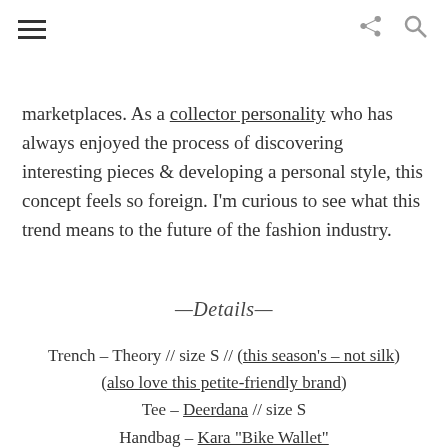≡  ↪  🔍
marketplaces. As a collector personality who has always enjoyed the process of discovering interesting pieces & developing a personal style, this concept feels so foreign. I'm curious to see what this trend means to the future of the fashion industry.
—Details—
Trench – Theory // size S // (this season's – not silk) (also love this petite-friendly brand)
Tee – Deerdana // size S
Handbag – Kara "Bike Wallet"
Jeans – Warp + Weft (c/o Jen @Frmheadtotoe)// size 24 // (similar in petite)
Jewelry – Vintage & Tacori